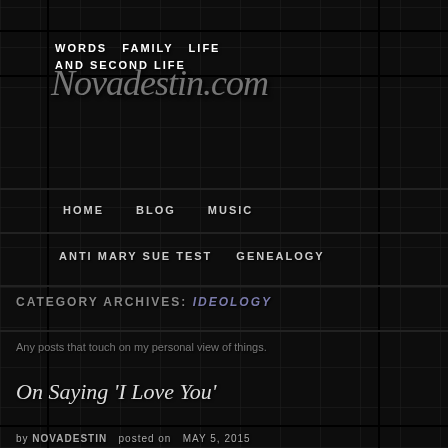[Figure (screenshot): Dark mosaic/pixel tile background with grid overlay for a website header]
WORDS  FAMILY  LIFE
AND SECOND LIFE
Novadestin.com
HOME   BLOG   MUSIC
ANTI MARY SUE TEST   GENEALOGY
CATEGORY ARCHIVES: IDEOLOGY
Any posts that touch on my personal view of things.
On Saying 'I Love You'
by NOVADESTIN  posted on  MAY 5, 2015